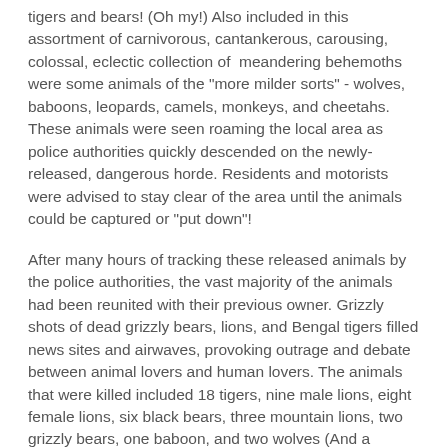tigers and bears! (Oh my!) Also included in this assortment of carnivorous, cantankerous, carousing, colossal, eclectic collection of  meandering behemoths were some animals of the "more milder sorts" - wolves, baboons, leopards, camels, monkeys, and cheetahs. These animals were seen roaming the local area as police authorities quickly descended on the newly-released, dangerous horde. Residents and motorists were advised to stay clear of the area until the animals could be captured or "put down"!
After many hours of tracking these released animals by the police authorities, the vast majority of the animals had been reunited with their previous owner. Grizzly shots of dead grizzly bears, lions, and Bengal tigers filled news sites and airwaves, provoking outrage and debate between animal lovers and human lovers. The animals that were killed included 18 tigers, nine male lions, eight female lions, six black bears, three mountain lions, two grizzly bears, one baboon, and two wolves (And a partridge in a pear tree)! There were a few animals that were caught and taken to the Columbus Zoo.